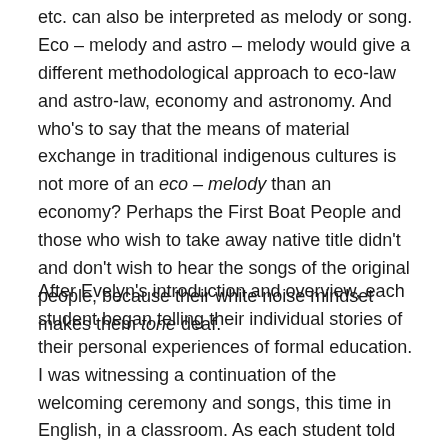etc. can also be interpreted as melody or song. Eco – melody and astro – melody would give a different methodological approach to eco-law and astro-law, economy and astronomy. And who's to say that the means of material exchange in traditional indigenous cultures is not more of an eco – melody than an economy? Perhaps the First Boat People and those who wish to take away native title didn't and don't wish to hear the songs of the original people, because their white noise mindset makes them tone deaf.
After Evelyn's introduction and overview, each student began telling their individual stories of their personal experiences of formal education. I was witnessing a continuation of the welcoming ceremony and songs, this time in English, in a classroom. As each student told their story, of how they came to be doing the program and the